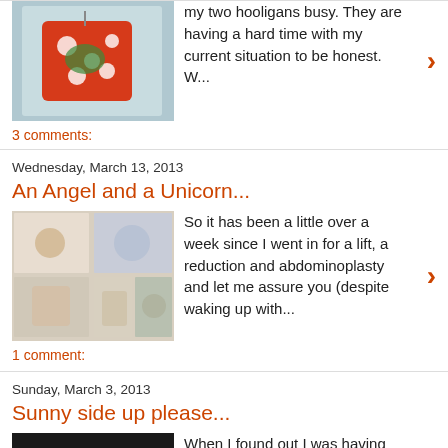[Figure (photo): Red polka-dot ornament box photo thumbnail]
my two hooligans busy. They are having a hard time with my current situation to be honest. W...
3 comments:
Wednesday, March 13, 2013
An Angel and a Unicorn...
[Figure (photo): Collage of multiple small photos thumbnail]
So it has been a little over a week since I went in for a lift, a reduction and abdominoplasty and let me assure you (despite waking up with...
1 comment:
Sunday, March 3, 2013
Sunny side up please...
[Figure (photo): Two fried eggs forming a heart shape thumbnail]
When I found out I was having twins my husband Paul was in South Africa. I waited two whole weeks for him to come home so I could hand him a...